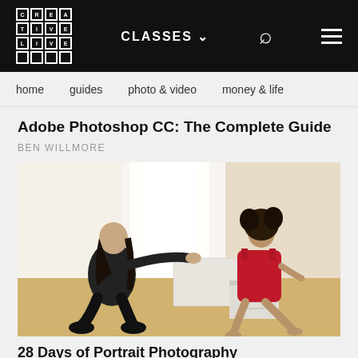CRE A TI VE LI VE | CLASSES | search | menu
home   guides   photo & video   money & life
Adobe Photoshop CC: The Complete Guide
BEN WILLMORE
[Figure (photo): A photographer in black clothing crouching and gesturing toward a female model in a red dress sitting on white boxes in a studio with wooden floor and white walls]
28 Days of Portrait Photography